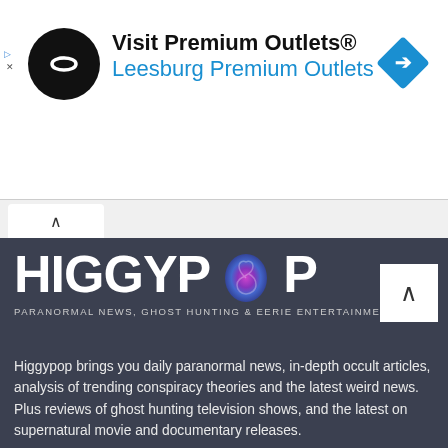[Figure (screenshot): Advertisement banner: black circular logo with white infinity-like symbol, text 'Visit Premium Outlets® Leesburg Premium Outlets' in black and blue, blue diamond arrow icon on right]
[Figure (logo): Higgypop logo: large white bold uppercase text 'HIGGYPOP' with a colorful swirl replacing the 'O', tagline 'PARANORMAL NEWS, GHOST HUNTING & EERIE ENTERTAINMENT']
Higgypop brings you daily paranormal news, in-depth occult articles, analysis of trending conspiracy theories and the latest weird news. Plus reviews of ghost hunting television shows, and the latest on supernatural movie and documentary releases.
Higgypop has also been producing award-winning content for YouTube since 2006 and has amassed more than 100,000 subscribers.